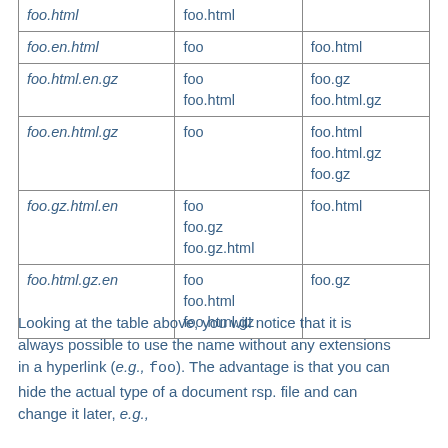| Filename | Aliases | Canonical name |
| --- | --- | --- |
| foo.en.html | foo | foo.html |
| foo.html.en.gz | foo
foo.html | foo.gz
foo.html.gz |
| foo.en.html.gz | foo | foo.html
foo.html.gz
foo.gz |
| foo.gz.html.en | foo
foo.gz
foo.gz.html | foo.html |
| foo.html.gz.en | foo
foo.html
foo.html.gz | foo.gz |
Looking at the table above, you will notice that it is always possible to use the name without any extensions in a hyperlink (e.g., foo). The advantage is that you can hide the actual type of a document rsp. file and can change it later, e.g.,